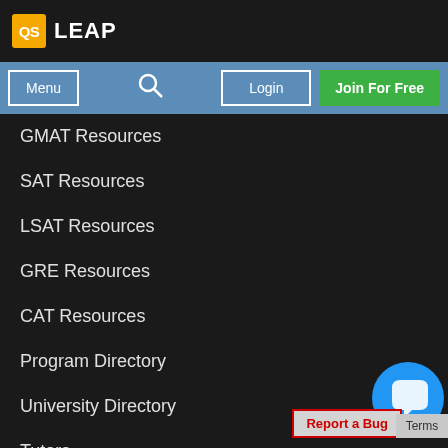[Figure (logo): QS LEAP logo with orange QS box and white LEAP text on dark background]
Menu | Login | Join For Free
GMAT Resources
SAT Resources
LSAT Resources
GRE Resources
CAT Resources
Program Directory
University Directory
Tutors
Admissions Consultant
Partners
Meet Schools
Report a Bug
Terms